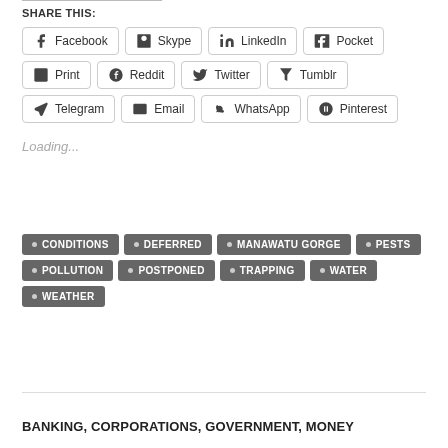SHARE THIS:
Facebook Skype LinkedIn Pocket Print Reddit Twitter Tumblr Telegram Email WhatsApp Pinterest
Loading...
CONDITIONS
DEFERRED
MANAWATU GORGE
PESTS
POLLUTION
POSTPONED
TRAPPING
WATER
WEATHER
BANKING, CORPORATIONS, GOVERNMENT, MONEY